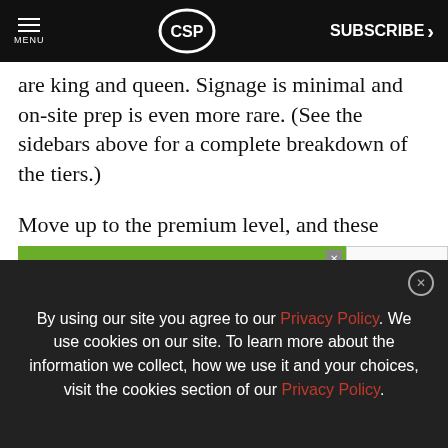MENU | CSP | SUBSCRIBE >
are king and queen. Signage is minimal and on-site prep is even more rare. (See the sidebars above for a complete breakdown of the tiers.)
Move up to the premium level, and these stores are providing the food and drink options ( basic t Here,
[Figure (other): Green advertisement banner: 'The Most Trusted Resource For Foodservice' with National Restaurant Association Show 2023 logo]
By using our site you agree to our Privacy Policy. We use cookies on our site. To learn more about the information we collect, how we use it and your choices, visit the cookies section of our Privacy Policy.